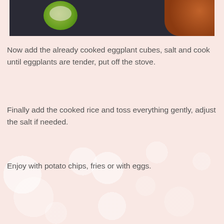[Figure (photo): Top portion of a food photo showing a dark background with a green bowl containing light-colored ingredients on the left, and an orange/brown flower or garnish on the right.]
Now add the already cooked eggplant cubes, salt and cook until eggplants are tender, put off the stove.
Finally add the cooked rice and toss everything gently, adjust the salt if needed.
Enjoy with potato chips, fries or with eggs.